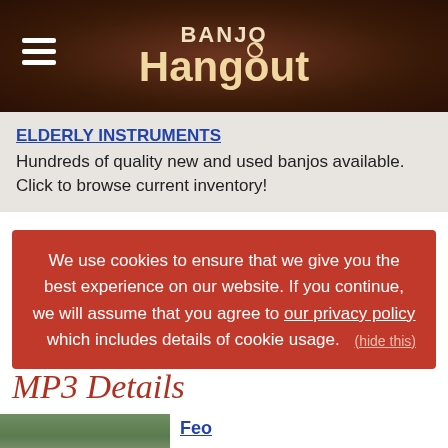BANJO Hangout
[Figure (logo): Banjo Hangout logo with hamburger menu icon on dark brown textured background]
ELDERLY INSTRUMENTS
Hundreds of quality new and used banjos available. Click to browse current inventory!
We use cookies to ensure that we give you the best experience on our website. If you continue, we will assume that you agree to our privacy policy which includes details of cookie usage. (hide this)
MP3 Details
[Figure (photo): Photo of a rustic wooden shed or outbuilding]
Feo